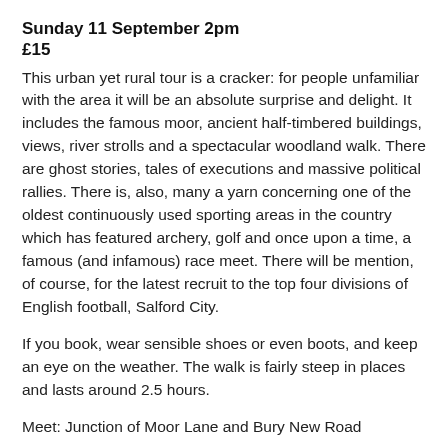Sunday 11 September 2pm
£15
This urban yet rural tour is a cracker: for people unfamiliar with the area it will be an absolute surprise and delight. It includes the famous moor, ancient half-timbered buildings, views, river strolls and a spectacular woodland walk. There are ghost stories, tales of executions and massive political rallies. There is, also, many a yarn concerning one of the oldest continuously used sporting areas in the country which has featured archery, golf and once upon a time, a famous (and infamous) race meet. There will be mention, of course, for the latest recruit to the top four divisions of English football, Salford City.
If you book, wear sensible shoes or even boots, and keep an eye on the weather. The walk is fairly steep in places and lasts around 2.5 hours.
Meet: Junction of Moor Lane and Bury New Road